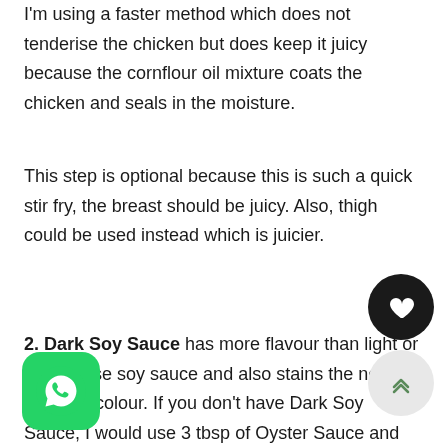I'm using a faster method which does not tenderise the chicken but does keep it juicy because the cornflour oil mixture coats the chicken and seals in the moisture.
This step is optional because this is such a quick stir fry, the breast should be juicy. Also, thigh could be used instead which is juicier.
2. Dark Soy Sauce has more flavour than light or all purpose soy sauce and also stains the noodles a darker colour. If you don't have Dark Soy Sauce, I would use 3 tbsp of Oyster Sauce and only 2 tsp of all purpose or light soy sauce.